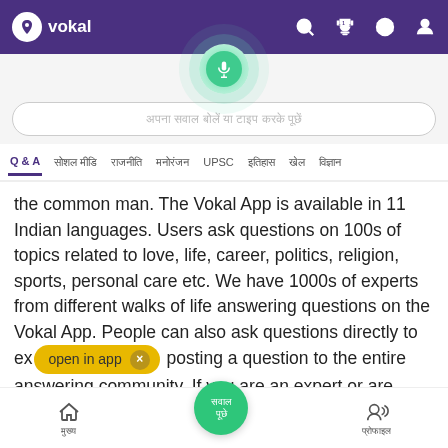[Figure (screenshot): Vokal app screenshot showing top navigation bar with purple background, Vokal logo, search/trophy/globe/profile icons]
[Figure (screenshot): Microphone button with green radial glow and search input field with Hindi placeholder text]
[Figure (screenshot): Tab navigation bar with Q&A active tab (purple) and several Hindi category tabs plus UPSC]
the common man. The Vokal App is available in 11 Indian languages. Users ask questions on 100s of topics related to love, life, career, politics, religion, sports, personal care etc. We have 1000s of experts from different walks of life answering questions on the Vokal App. People can also ask questions directly to ex open in app × posting a question to the entire answering community. If you are an expert or are great at something, we invite you to join this knowledge sharing revolution and help India grow. Download the Vokal App!
[Figure (screenshot): Bottom navigation bar with home icon, green center button with Hindi text, and profile/voice icon]